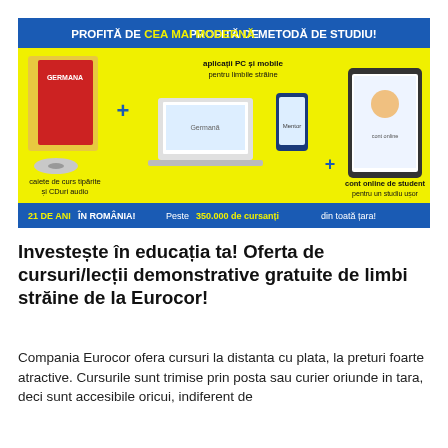[Figure (infographic): Eurocor language courses advertisement banner. Blue header: 'PROFITĂ DE CEA MAI MODERNĂ METODĂ DE STUDIU!' Yellow background with books, laptop, mobile phone, tablet. Text: 'aplicații PC și mobile pentru limbile străine', 'caiete de curs tipărite și CDuri audio', 'cont online de student pentru un studiu ușor'. Blue footer: '21 DE ANI ÎN ROMÂNIA! Peste 350.000 de cursanți din toată țara!']
Investește în educația ta! Oferta de cursuri/lecții demonstrative gratuite de limbi străine de la Eurocor!
Compania Eurocor ofera cursuri la distanta cu plata, la preturi foarte atractive. Cursurile sunt trimise prin posta sau curier oriunde in tara, deci sunt accesibile oricui, indiferent de